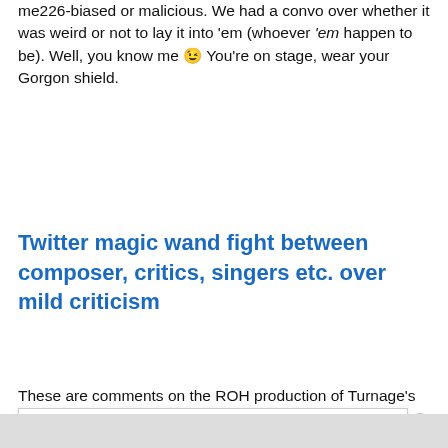me226-biased or malicious. We had a convo over whether it was weird or not to lay it into 'em (whoever 'em happen to be). Well, you know me 😉 You're on stage, wear your Gorgon shield.
Twitter magic wand fight between composer, critics, singers etc. over mild criticism
These are comments on the ROH production of Turnage's
Privacy & Cookies: This site uses cookies. By continuing to use this website, you agree to their use.
To find out more, including how to control cookies, see here: Cookie Policy
Close and accept